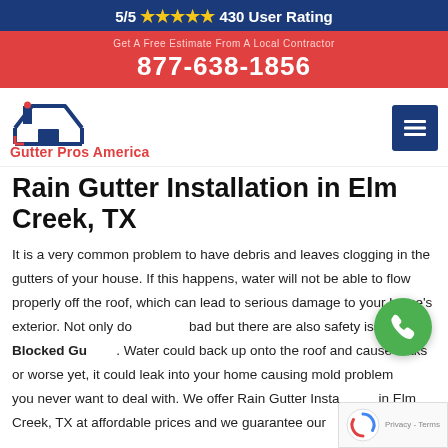5/5 ★★★★★ 430 User Rating
877-638-1856
[Figure (logo): Gutter Pros America logo with house/roof icon and red/blue colors]
Rain Gutter Installation in Elm Creek, TX
It is a very common problem to have debris and leaves clogging in the gutters of your house. If this happens, water will not be able to flow properly off the roof, which can lead to serious damage to your home's exterior. Not only do look bad but there are also safety issues with Blocked Gutters. Water could back up onto the roof and cause leaks or worse yet, it could leak into your home causing mold problems you never want to deal with. We offer Rain Gutter Installation in Elm Creek, TX at affordable prices and we guarantee our